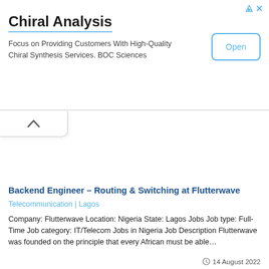[Figure (screenshot): Advertisement banner for Chiral Analysis by BOC Sciences with an Open button]
Chiral Analysis
Focus on Providing Customers With High-Quality Chiral Synthesis Services. BOC Sciences
[Figure (screenshot): Collapse/chevron-up button tab]
Backend Engineer – Routing & Switching at Flutterwave
Telecommunication | Lagos
Company: Flutterwave Location: Nigeria State: Lagos Jobs Job type: Full-Time Job category: IT/Telecom Jobs in Nigeria Job Description Flutterwave was founded on the principle that every African must be able…
14 August 2022